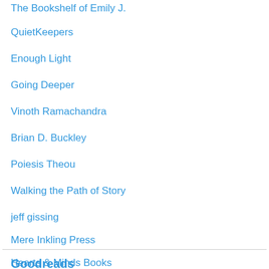The Bookshelf of Emily J.
QuietKeepers
Enough Light
Going Deeper
Vinoth Ramachandra
Brian D. Buckley
Poiesis Theou
Walking the Path of Story
jeff gissing
Mere Inkling Press
Hearts & Minds Books
Goodreads